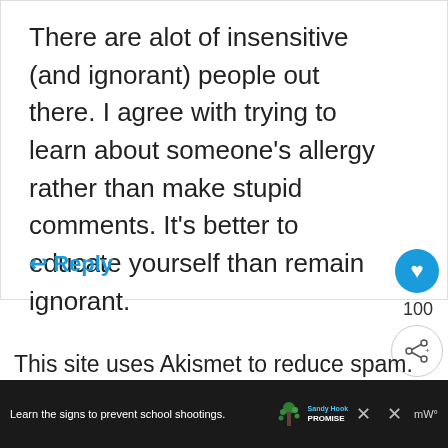10 January 2018 at 18:00
There are alot of insensitive (and ignorant) people out there. I agree with trying to learn about someone's allergy rather than make stupid comments. It's better to educate yourself than remain ignorant.
↩ Reply
100
This site uses Akismet to reduce spam.
Learn the signs to prevent school shootings.